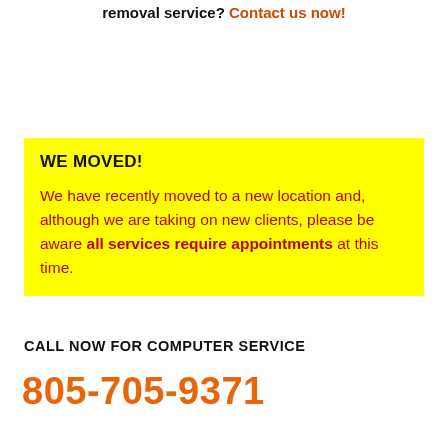removal service? Contact us now!
WE MOVED!
We have recently moved to a new location and, although we are taking on new clients, please be aware all services require appointments at this time.
CALL NOW FOR COMPUTER SERVICE
805-705-9371